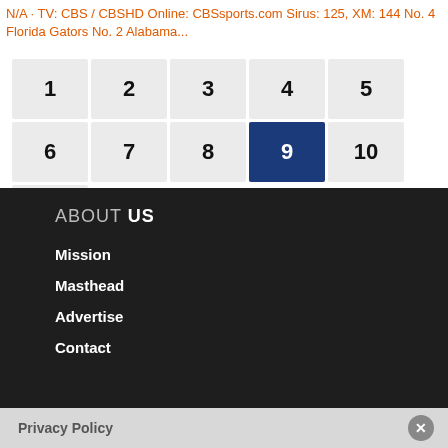N/A · TV: CBS / CBSHD Online: CBSsports.com Sirus: 125, XM: 144 No. 4 Florida Gators No. 2 Alabama...
[Figure (other): Pagination navigation buttons numbered 1 through 11, with button 9 highlighted in dark navy blue]
ABOUT US
Mission
Masthead
Advertise
Contact
Privacy Policy